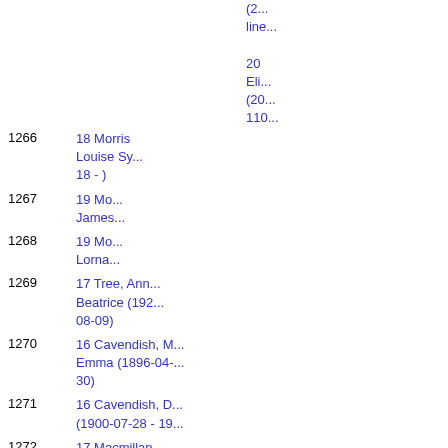(2...
line...
20
Eli...
(20...
110...
1266    18 Morris, Louise Sy... 18 - )
1267    19 Mo... James...
1268    19 Mo... Lorna...
1269    17 Tree, Ann... Beatrice (192... 08-09)
1270    16 Cavendish, M... Emma (1896-04-... 30)
1271    16 Cavendish, D... (1900-07-28 - 19...
1272    17 Macmillan... Victor (1921-... 03-10)
1273    18 Macm...